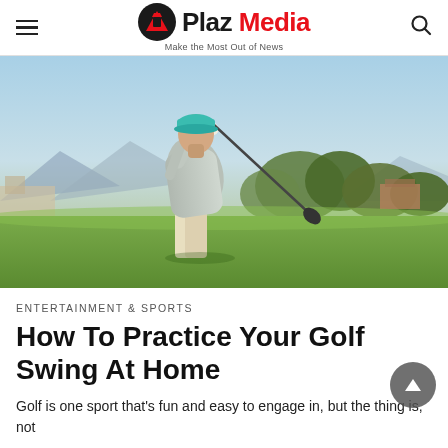Plaz Media — Make the Most Out of News
[Figure (photo): A golfer mid-swing on a golf course, viewed from behind, wearing a teal cap and grey shirt, sunny day with mountains and trees in background.]
ENTERTAINMENT & SPORTS
How To Practice Your Golf Swing At Home
Golf is one sport that's fun and easy to engage in, but the thing is, not